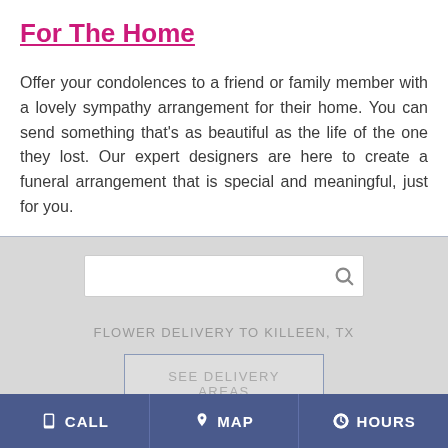For The Home
Offer your condolences to a friend or family member with a lovely sympathy arrangement for their home. You can send something that's as beautiful as the life of the one they lost. Our expert designers are here to create a funeral arrangement that is special and meaningful, just for you.
[Figure (screenshot): Search bar with magnifying glass icon on a light grey background]
FLOWER DELIVERY TO KILLEEN, TX
SEE DELIVERY AREAS
CALL   MAP   HOURS